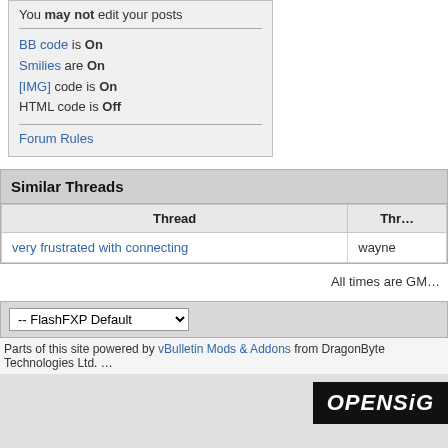You may not edit your posts
BB code is On
Smilies are On
[IMG] code is On
HTML code is Off
Forum Rules
Similar Threads
| Thread | Thr... |
| --- | --- |
| very frustrated with connecting | wayne |
All times are GM...
-- FlashFXP Default
Parts of this site powered by vBulletin Mods & Addons from DragonByte Technologies Ltd.
[Figure (logo): OPENSiG logo in black box]
Copyright © 1999-2016 O... Powered by vBulletin® Co... Promote FlashFX...